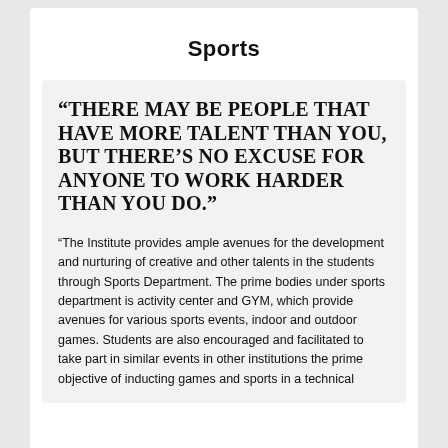Sports
“THERE MAY BE PEOPLE THAT HAVE MORE TALENT THAN YOU, BUT THERE’S NO EXCUSE FOR ANYONE TO WORK HARDER THAN YOU DO.”
“The Institute provides ample avenues for the development and nurturing of creative and other talents in the students through Sports Department. The prime bodies under sports department is activity center and GYM, which provide avenues for various sports events, indoor and outdoor games. Students are also encouraged and facilitated to take part in similar events in other institutions the prime objective of inducting games and sports in a technical